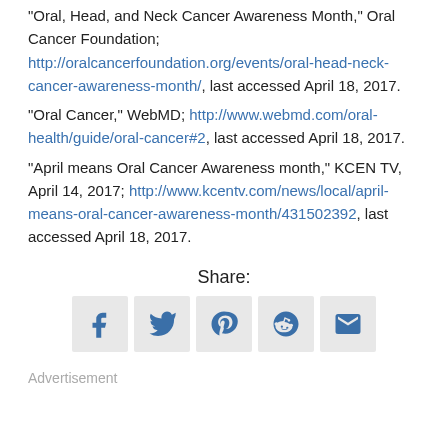“Oral, Head, and Neck Cancer Awareness Month,” Oral Cancer Foundation; http://oralcancerfoundation.org/events/oral-head-neck-cancer-awareness-month/, last accessed April 18, 2017.
“Oral Cancer,” WebMD; http://www.webmd.com/oral-health/guide/oral-cancer#2, last accessed April 18, 2017.
“April means Oral Cancer Awareness month,” KCEN TV, April 14, 2017; http://www.kcentv.com/news/local/april-means-oral-cancer-awareness-month/431502392, last accessed April 18, 2017.
Share:
[Figure (infographic): Social share icons: Facebook, Twitter, Pinterest, Reddit, Email]
Advertisement